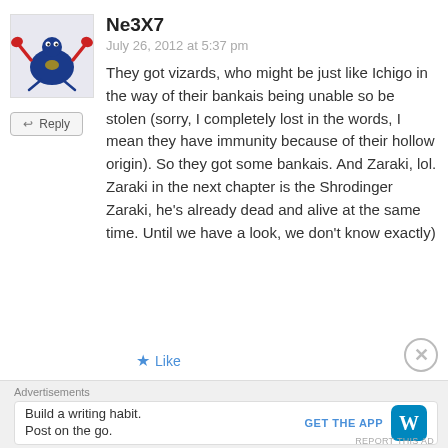Ne3X7
July 26, 2012 at 5:37 pm
They got vizards, who might be just like Ichigo in the way of their bankais being unable so be stolen (sorry, I completely lost in the words, I mean they have immunity because of their hollow origin). So they got some bankais. And Zaraki, lol. Zaraki in the next chapter is the Shrodinger Zaraki, he's already dead and alive at the same time. Until we have a look, we don't know exactly)
Like
Advertisements
Build a writing habit. Post on the go.
GET THE APP